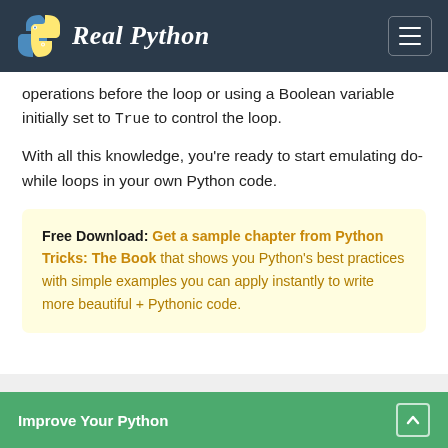Real Python
operations before the loop or using a Boolean variable initially set to True to control the loop.
With all this knowledge, you're ready to start emulating do-while loops in your own Python code.
Free Download: Get a sample chapter from Python Tricks: The Book that shows you Python's best practices with simple examples you can apply instantly to write more beautiful + Pythonic code.
Improve Your Python